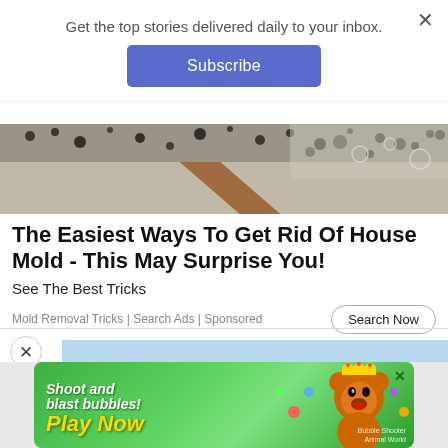Get the top stories delivered daily to your inbox.
Subscribe
[Figure (photo): Close-up of black mold on a wall near a wooden door frame]
The Easiest Ways To Get Rid Of House Mold - This May Surprise You!
See The Best Tricks
Mold Removal Tricks | Search Ads | Sponsored
Search Now
[Figure (screenshot): Mobile game advertisement showing cartoon bear character with text 'Shoot and blast bubbles! Play Now' and watermark 'Bubble Shooter Animal World']